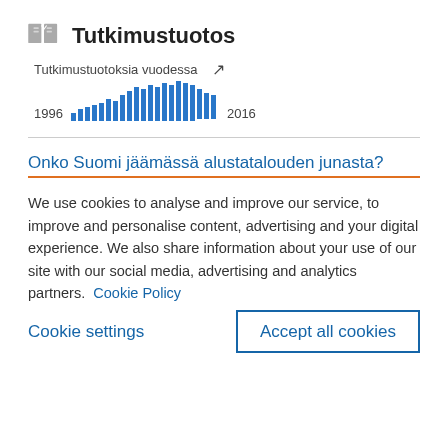Tutkimustuotos
[Figure (bar-chart): Tutkimustuotoksia vuodessa]
Onko Suomi jäämässä alustatalouden junasta?
We use cookies to analyse and improve our service, to improve and personalise content, advertising and your digital experience. We also share information about your use of our site with our social media, advertising and analytics partners.  Cookie Policy
Cookie settings
Accept all cookies